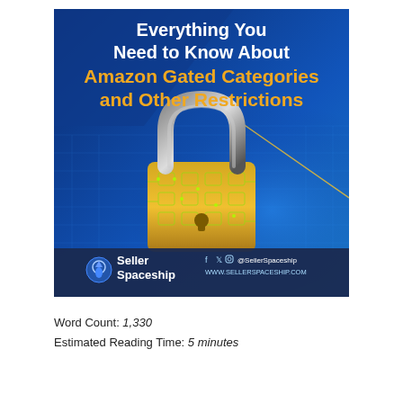[Figure (illustration): Cover image for article about Amazon Gated Categories. Dark blue background with digital padlock graphic. Text reads: 'Everything You Need to Know About Amazon Gated Categories and Other Restrictions'. Bottom bar shows Seller Spaceship logo and social media handles @SellerSpaceship and www.sellerspaceship.com]
Word Count: 1,330
Estimated Reading Time: 5 minutes